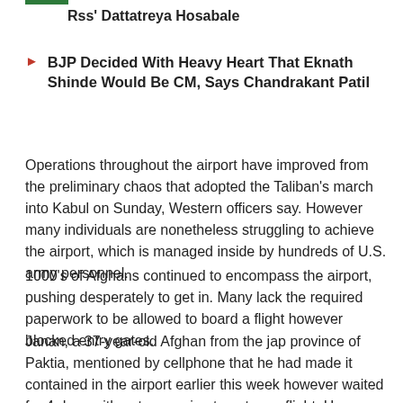Rss' Dattatreya Hosabale
BJP Decided With Heavy Heart That Eknath Shinde Would Be CM, Says Chandrakant Patil
Operations throughout the airport have improved from the preliminary chaos that adopted the Taliban's march into Kabul on Sunday, Western officers say. However many individuals are nonetheless struggling to achieve the airport, which is managed inside by hundreds of U.S. army personnel.
1000's of Afghans continued to encompass the airport, pushing desperately to get in. Many lack the required paperwork to be allowed to board a flight however blocked entry gates.
Janan, a 37-year-old Afghan from the jap province of Paktia, mentioned by cellphone that he had made it contained in the airport earlier this week however waited for 4 days with out managing to get on a flight. He mentioned that he had labored